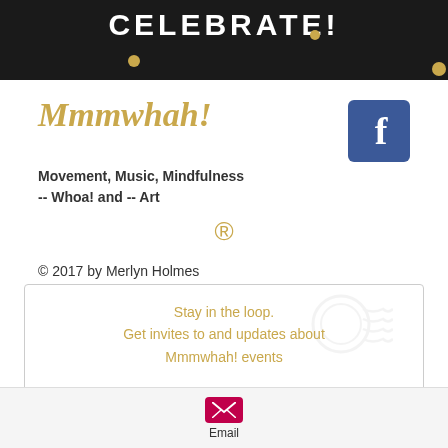[Figure (illustration): Dark banner at top with 'CELEBRATE!' text in white bold letters and gold confetti dots on black background]
Mmmwhah!
[Figure (logo): Facebook logo icon — blue rounded square with white letter f]
Movement, Music, Mindfulness -- Whoa! and -- Art
®
© 2017 by Merlyn Holmes Boulder, Colorado mer @ hottea.com
Stay in the loop. Get invites to and updates about Mmmwhah! events
[Figure (illustration): Postage stamp watermark graphic in light grey behind newsletter text]
[Figure (illustration): Email icon — crimson/magenta rounded rectangle with white envelope shape]
Email